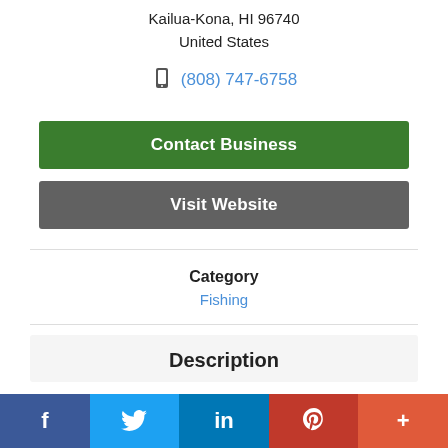Kailua-Kona, HI 96740
United States
(808) 747-6758
Contact Business
Visit Website
Category
Fishing
Description
f  Twitter  in  Pinterest  +